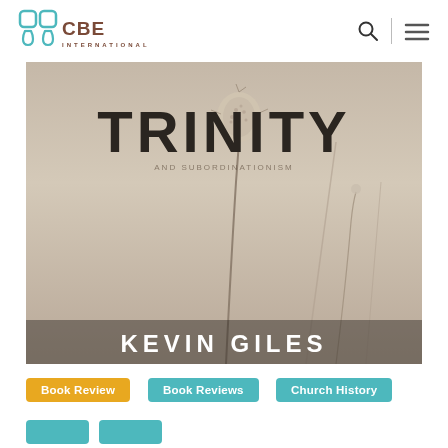CBE INTERNATIONAL
[Figure (photo): Book cover image showing the word TRINITY in large bold letters at the top, a sepia-toned photo of a dried flower/plant in the background, and KEVIN GILES in large white letters at the bottom.]
Book Review
Book Reviews
Church History